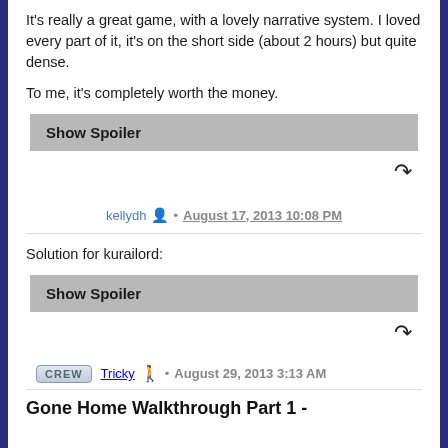It's really a great game, with a lovely narrative system. I loved every part of it, it's on the short side (about 2 hours) but quite dense.
To me, it's completely worth the money.
Show Spoiler
kellydh · August 17, 2013 10:08 PM
Solution for kurailord:
Show Spoiler
CREW Tricky · August 29, 2013 3:13 AM
Gone Home Walkthrough Part 1 -